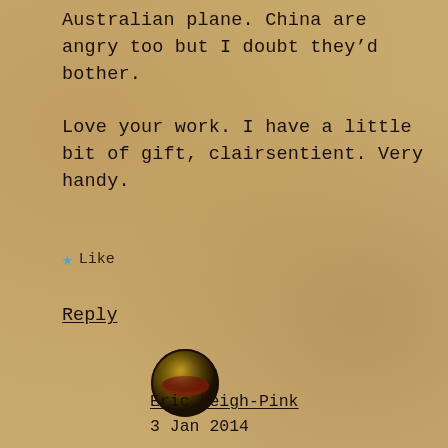Australian plane. China are angry too but I doubt they’d bother.

Love your work. I have a little bit of gift, clairsentient. Very handy.
★ Like
Reply
[Figure (photo): Small circular avatar image of a person with dark background, appears as a round profile photo thumbnail]
Eric Leigh-Pink
3 Jan 2014